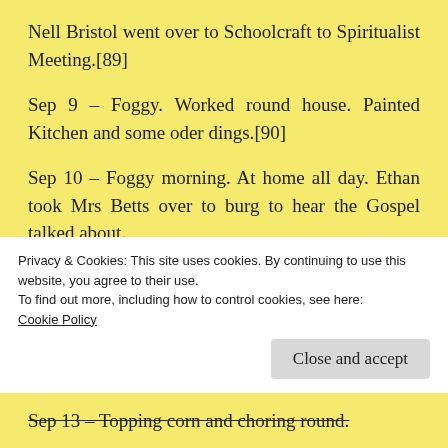Nell Bristol went over to Schoolcraft to Spiritualist Meeting.[89]
Sep 9 – Foggy. Worked round house. Painted Kitchen and some oder dings.[90]
Sep 10 – Foggy morning. At home all day. Ethan took Mrs Betts over to burg to hear the Gospel talked about.
Sep 11 – Commenced Topping corn. Fine warm
Privacy & Cookies: This site uses cookies. By continuing to use this website, you agree to their use.
To find out more, including how to control cookies, see here:
Cookie Policy
Close and accept
Sep 13 – Topping corn and choring round.